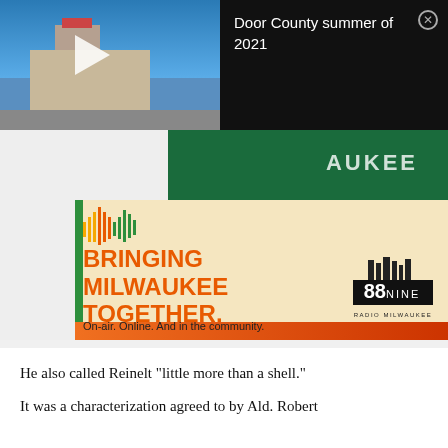[Figure (screenshot): Video thumbnail showing a building exterior with blue sky, overlaid with a play button. Next to it is a black box with video title text 'Door County summer of 2021' and a close (X) button.]
[Figure (photo): Advertisement banner for 88Nine Radio Milwaukee with text 'BRINGING MILWAUKEE TOGETHER.' and tagline 'On-air. Online. And in the community.' with logo.]
He also called Reinelt "little more than a shell."
It was a characterization agreed to by Ald. Robert